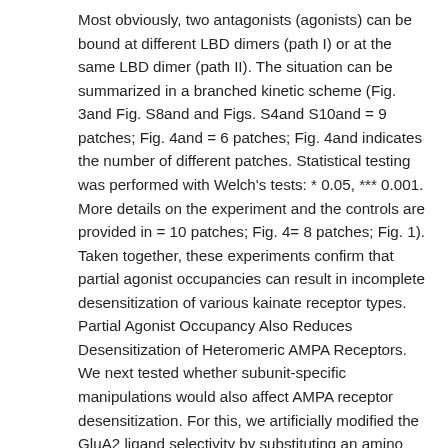Most obviously, two antagonists (agonists) can be bound at different LBD dimers (path I) or at the same LBD dimer (path II). The situation can be summarized in a branched kinetic scheme (Fig. 3and Fig. S8and and Figs. S4and S10and = 9 patches; Fig. 4and = 6 patches; Fig. 4and indicates the number of different patches. Statistical testing was performed with Welch's tests: * 0.05, *** 0.001. More details on the experiment and the controls are provided in = 10 patches; Fig. 4= 8 patches; Fig. 1). Taken together, these experiments confirm that partial agonist occupancies can result in incomplete desensitization of various kainate receptor types. Partial Agonist Occupancy Also Reduces Desensitization of Heteromeric AMPA Receptors. We next tested whether subunit-specific manipulations would also affect AMPA receptor desensitization. For this, we artificially modified the GluA2 ligand selectivity by substituting an amino acid side chain in the binding pocket (leucine 671 to threonine; L671T). The L671T substitution is known to increase kainate binding and efficacy at GluA2 receptors (62), and it has been suggested that leucine 671 obstructs